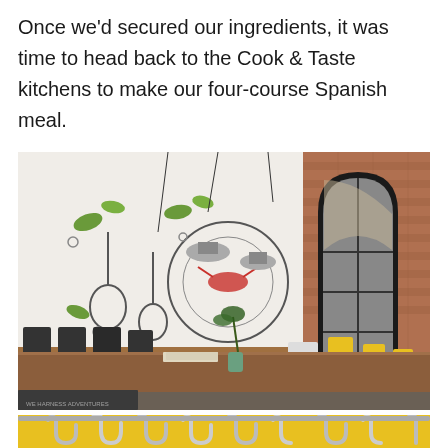Once we'd secured our ingredients, it was time to head back to the Cook & Taste kitchens to make our four-course Spanish meal.
[Figure (photo): Interior of Cook & Taste kitchen/dining space. A large artistic mural featuring kitchen utensils, plants, and a lobster is painted on a white wall. A long wooden dining table with yellow and white chairs is in the foreground. Exposed brick wall with an arched black-framed window/door on the right side. Pendant lights hang from the ceiling. A watermark reads 'WE HARNESS ADVENTURES' at the bottom left.]
[Figure (photo): Close-up of metal coat hooks or utensil hooks mounted on a yellow-painted wall, partially visible at the bottom of the page.]